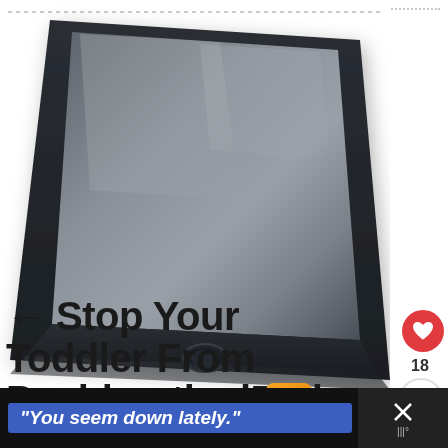[Figure (photo): Close-up photo of an iPad showing the bottom portion with home button, dark bezel, on white background with dotted border at top]
← Stop Your Toddler From Pushing the iPad Button!
[Figure (infographic): What's Next arrow panel with app icon thumbnail and text: WHAT'S NEXT → App Review - Jake's...]
[Figure (photo): Partial bottom image showing light blue shelf/furniture background with person's hand visible]
[Figure (infographic): Black ad banner with text: "You seem down lately." and X close button on right]